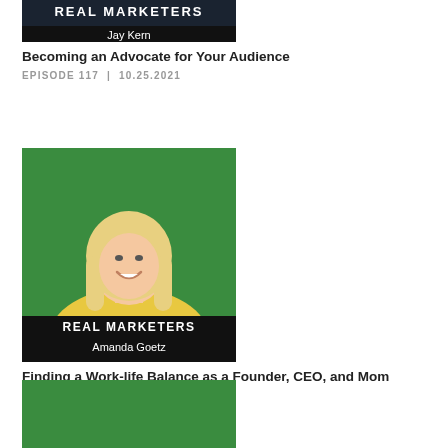[Figure (photo): Podcast cover image cropped at top showing 'REAL MARKETERS' text and 'Jay Kern' name on dark background]
Becoming an Advocate for Your Audience
EPISODE 117  |  10.25.2021
[Figure (photo): Podcast cover image for Real Marketers featuring Amanda Goetz, a blonde woman smiling, wearing a yellow sweater, on a green background. Text reads 'REAL MARKETERS' and 'Amanda Goetz']
Finding a Work-life Balance as a Founder, CEO, and Mom
EPISODE 116  |  10.18.2021
[Figure (photo): Podcast cover image cropped at bottom, showing green background, partial view of third episode listing]